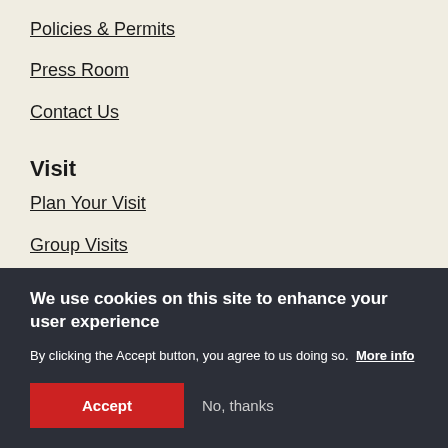Policies & Permits
Press Room
Contact Us
Visit
Plan Your Visit
Group Visits
We use cookies on this site to enhance your user experience
By clicking the Accept button, you agree to us doing so. More info
Accept
No, thanks